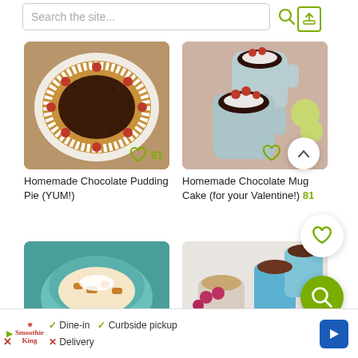[Figure (screenshot): Search bar with search icon and upload icon]
[Figure (photo): Homemade chocolate pudding pie with strawberries and whipped cream, heart count 91]
Homemade Chocolate Pudding Pie (YUM!)
[Figure (photo): Homemade chocolate mug cake for Valentine with strawberries in mugs, heart count 81]
Homemade Chocolate Mug Cake (for your Valentine!) 81
[Figure (photo): Dessert in blue bowl (partially visible)]
[Figure (photo): Chocolate mousse cups with raspberries (partially visible)]
Dine-in  Curbside pickup  Delivery (ad bar for Smoothie King)